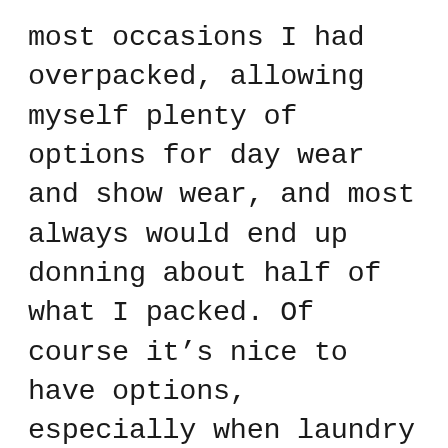most occasions I had overpacked, allowing myself plenty of options for day wear and show wear, and most always would end up donning about half of what I packed. Of course it's nice to have options, especially when laundry days are few and far between, but I eventually realized that I needed to minimize to maximize. I'm not sure if that even makes sense.